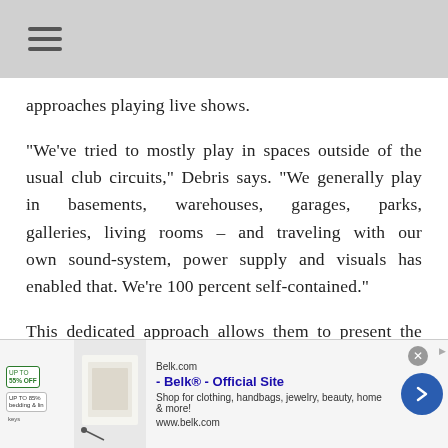approaches playing live shows.
“We’ve tried to mostly play in spaces outside of the usual club circuits,” Debris says. “We generally play in basements, warehouses, garages, parks, galleries, living rooms – and traveling with our own sound-system, power supply and visuals has enabled that. We’re 100 percent self-contained.”
This dedicated approach allows them to present the shows itself exactly as they intend, a nod to the
[Figure (other): Advertisement banner for Belk.com - Belk® - Official Site. Shows product image, text 'Shop for clothing, handbags, jewelry, beauty, home & more!' and www.belk.com with a blue arrow button.]